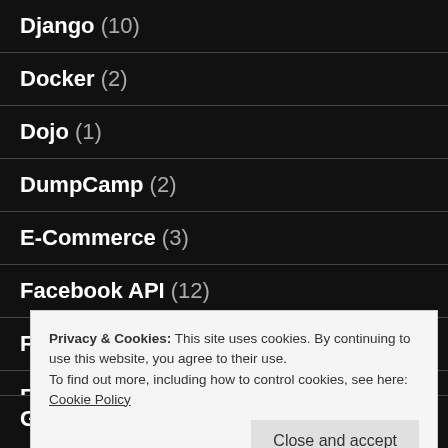Django (10)
Docker (2)
Dojo (1)
DumpCamp (2)
E-Commerce (3)
Facebook API (12)
Firefox (2)
Font (1)
General (3)
Privacy & Cookies: This site uses cookies. By continuing to use this website, you agree to their use. To find out more, including how to control cookies, see here: Cookie Policy
Close and accept
Google Plus API (1)